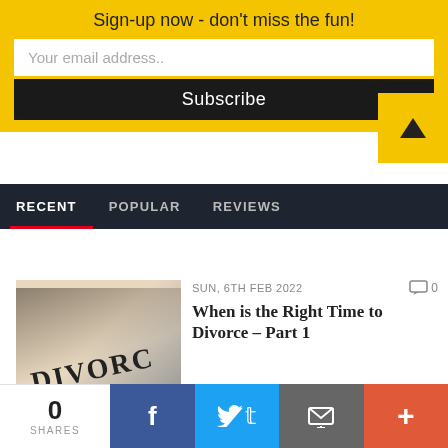Sign-up now - don't miss the fun!
Your email address..
Subscribe
RECENT   POPULAR   REVIEWS
SUN, 6TH FEB 2022
0
When is the Right Time to Divorce – Part 1
SUN, 5TH APR 2020
0
0 SHARES